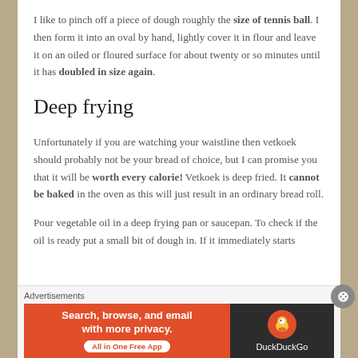I like to pinch off a piece of dough roughly the size of tennis ball. I then form it into an oval by hand, lightly cover it in flour and leave it on an oiled or floured surface for about twenty or so minutes until it has doubled in size again.
Deep frying
Unfortunately if you are watching your waistline then vetkoek should probably not be your bread of choice, but I can promise you that it will be worth every calorie! Vetkoek is deep fried. It cannot be baked in the oven as this will just result in an ordinary bread roll.
Pour vegetable oil in a deep frying pan or saucepan. To check if the oil is ready put a small bit of dough in. If it immediately starts
Advertisements